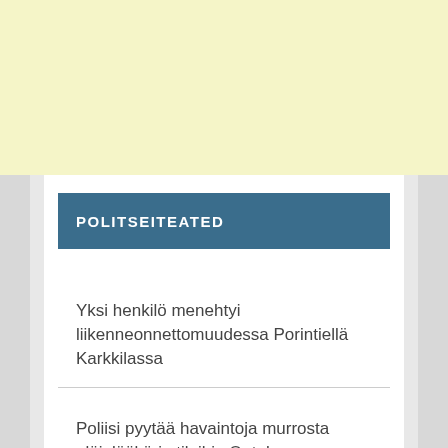[Figure (other): Yellow banner area at the top of the page]
POLITSEITEATED
Yksi henkilö menehtyi liikenneonnettomuudessa Porintiellä Karkkilassa
Poliisi pyytää havaintoja murrosta eläinlääkärin tiloihin Outokummussa Likokorventiellä